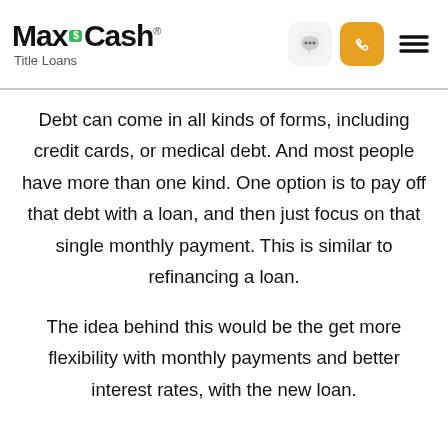MaxCash Title Loans
Using a Title Loan to Pay Debt
Debt can come in all kinds of forms, including credit cards, or medical debt. And most people have more than one kind. One option is to pay off that debt with a loan, and then just focus on that single monthly payment. This is similar to refinancing a loan.
The idea behind this would be the get more flexibility with monthly payments and better interest rates, with the new loan.